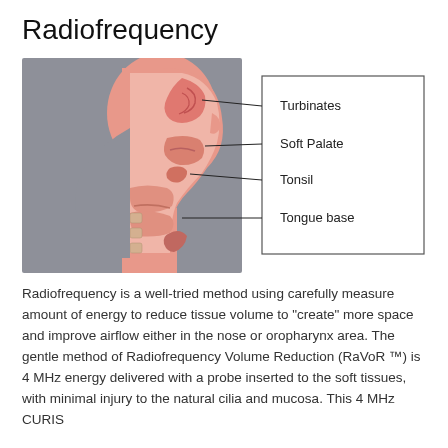Radiofrequency
[Figure (illustration): Cross-section anatomical illustration of the human head and throat (sagittal view) showing nasal and oral cavities. A labeled diagram with lines pointing to: Turbinates, Soft Palate, Tonsil, Tongue base. The left portion shows a profile silhouette on gray background, the right portion shows pink internal anatomy with a bordered legend box.]
Radiofrequency is a well-tried method using carefully measure amount of energy to reduce tissue volume to "create" more space and improve airflow either in the nose or oropharynx area. The gentle method of Radiofrequency Volume Reduction (RaVoR ™) is 4 MHz energy delivered with a probe inserted to the soft tissues, with minimal injury to the natural cilia and mucosa. This 4 MHz CURIS technology...